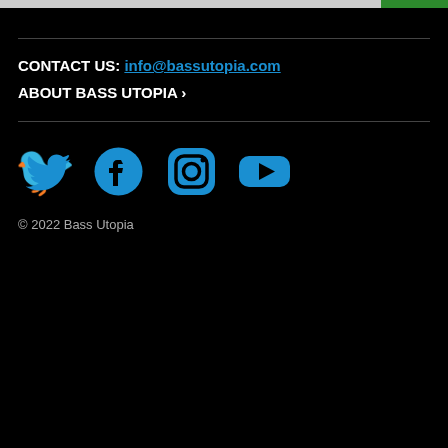CONTACT US: info@bassutopia.com
ABOUT BASS UTOPIA ›
[Figure (other): Social media icons: Twitter, Facebook, Instagram, YouTube in blue]
© 2022 Bass Utopia